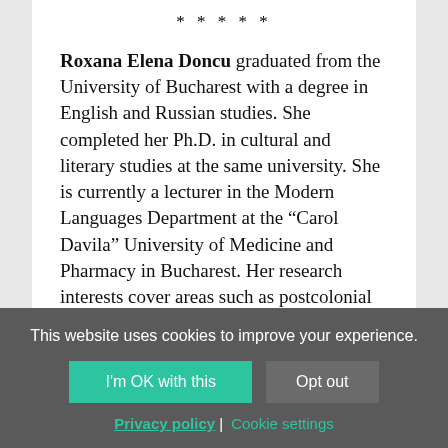*****
Roxana Elena Doncu graduated from the University of Bucharest with a degree in English and Russian studies. She completed her Ph.D. in cultural and literary studies at the same university. She is currently a lecturer in the Modern Languages Department at the “Carol Davila” University of Medicine and Pharmacy in Bucharest. Her research interests cover areas such as postcolonial and post-communist studies, world literature, translation and medical humanities. She is a member of the international research group on Literary Modelling at the University of Münster
This website uses cookies to improve your experience.
I'm OK with this
Opt out
Privacy policy | Cookie settings